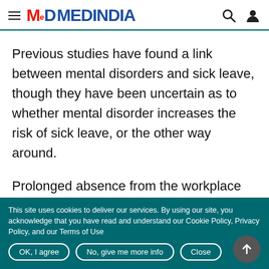MEDINDIA
Previous studies have found a link between mental disorders and sick leave, though they have been uncertain as to whether mental disorder increases the risk of sick leave, or the other way around.
Prolonged absence from the workplace can contribute to avoidance behaviour,
This site uses cookies to deliver our services. By using our site, you acknowledge that you have read and understand our Cookie Policy, Privacy Policy, and our Terms of Use